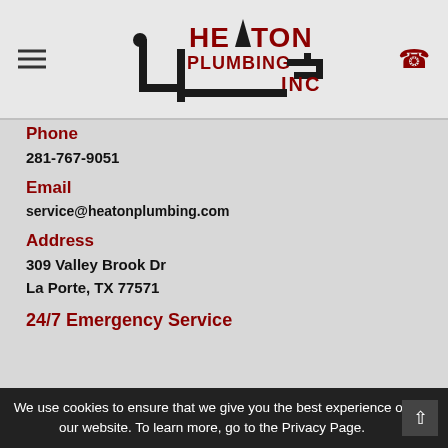[Figure (logo): Heaton Plumbing Inc logo with pipe graphic]
Phone
281-767-9051
Email
service@heatonplumbing.com
Address
309 Valley Brook Dr
La Porte, TX 77571
24/7 Emergency Service
We use cookies to ensure that we give you the best experience on our website. To learn more, go to the Privacy Page.